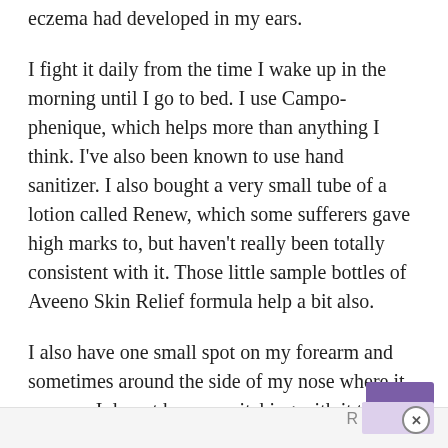eczema had developed in my ears.
I fight it daily from the time I wake up in the morning until I go to bed. I use Campo-phenique, which helps more than anything I think. I've also been known to use hand sanitizer. I also bought a very small tube of a lotion called Renew, which some sufferers gave high marks to, but haven't really been totally consistent with it. Those little sample bottles of Aveeno Skin Relief formula help a bit also.
I also have one small spot on my forearm and sometimes around the side of my nose where it creases. I do not have any itching with it though.